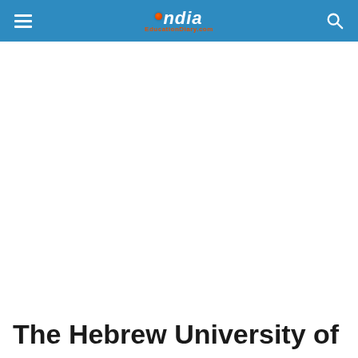India EducationDiary.com
The Hebrew University of